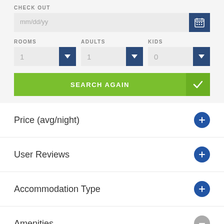CHECK OUT
mm/dd/yy
ROOMS
1
ADULTS
1
KIDS
0
SEARCH AGAIN
Price (avg/night)
User Reviews
Accommodation Type
Amenities
WhatsApp us